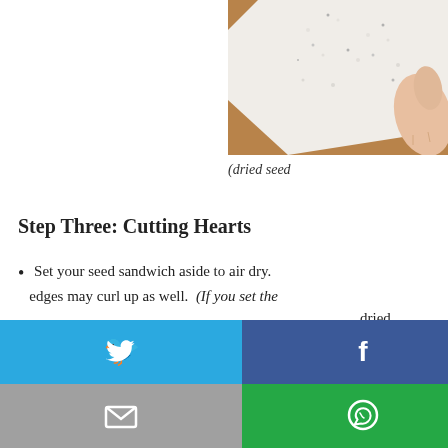[Figure (photo): A hand holding white lacey fabric with sparkly sequins/beads on a wooden surface]
(dried seed
Step Three: Cutting Hearts
Set your seed sandwich aside to air dry. edges may curl up as well. (If you set the
[Figure (screenshot): Social media share buttons overlay: Twitter (blue), Facebook (dark blue), Email (gray), WhatsApp (green), SMS (blue), Other/share (green)]